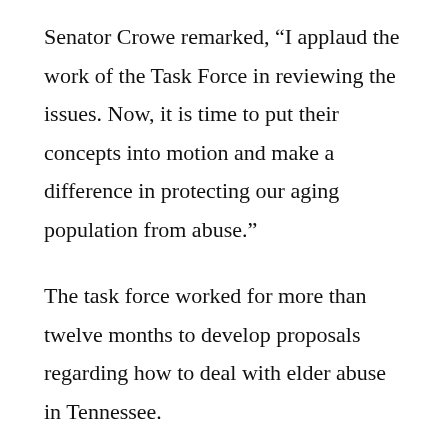Senator Crowe remarked, “I applaud the work of the Task Force in reviewing the issues. Now, it is time to put their concepts into motion and make a difference in protecting our aging population from abuse.”
The task force worked for more than twelve months to develop proposals regarding how to deal with elder abuse in Tennessee.
One of its eight recommendations is to change state law to ultimately increase